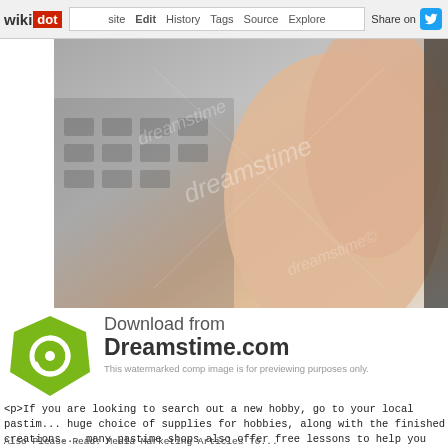wikidot | site | Edit | History | Tags | Source | Explore | Share on Twitter
[Figure (photo): Close-up photo of a human hand/finger on a keyboard, watermarked with dreamstime logo]
[Figure (logo): Dreamstime.com download banner with green spiral logo, text: Download from Dreamstime.com. This watermarked comp image is for previewing purposes only.]
<p>If you are looking to search out a new hobby, go to your local pastim... huge choice of supplies for hobbies, along with the finished creations... many pastime shops also offer free lessons to help you get began.</p>
<p>After studying the information laid out here, you must have numerous... try. By all means, begin serious about how you may get started quickly. H... sure that you may have some that can assist you cross your time.</p> - C
Also Please Read: Media Marketing Articles To...